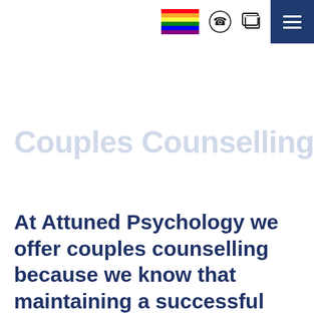[Figure (other): Navigation bar with rainbow pride flag, phone icon, chat icon, and hamburger menu button on dark navy background]
Couples Counselling
At Attuned Psychology we offer couples counselling because we know that maintaining a successful